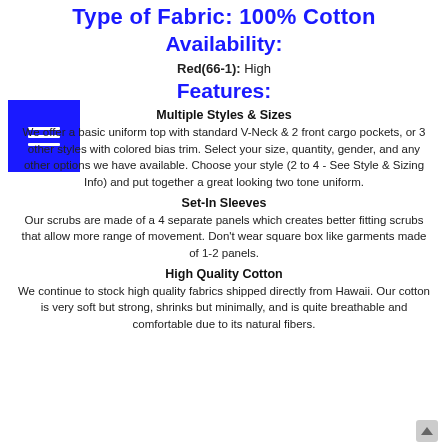Type of Fabric: 100% Cotton
Availability:
Red(66-1): High
Features:
Multiple Styles & Sizes
We offer a basic uniform top with standard V-Neck & 2 front cargo pockets, or 3 other styles with colored bias trim. Select your size, quantity, gender, and any other options we have available. Choose your style (2 to 4 - See Style & Sizing Info) and put together a great looking two tone uniform.
Set-In Sleeves
Our scrubs are made of a 4 separate panels which creates better fitting scrubs that allow more range of movement. Don't wear square box like garments made of 1-2 panels.
High Quality Cotton
We continue to stock high quality fabrics shipped directly from Hawaii. Our cotton is very soft but strong, shrinks but minimally, and is quite breathable and comfortable due to its natural fibers.